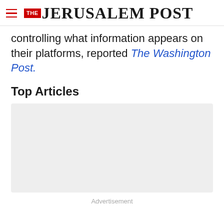THE JERUSALEM POST
controlling what information appears on their platforms, reported The Washington Post.
Top Articles
[Figure (other): Advertisement placeholder box, gray background]
Advertisement